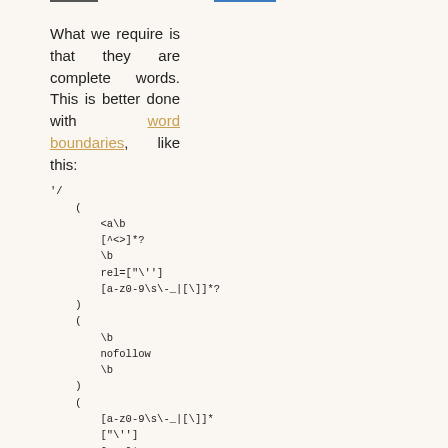What we require is that they are complete words. This is better done with word boundaries, like this: